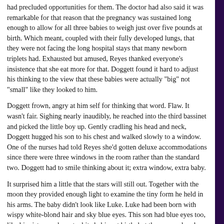had precluded opportunities for them. The doctor had also said it was remarkable for that reason that the pregnancy was sustained long enough to allow for all three babies to weigh just over five pounds at birth. Which meant, coupled with their fully developed lungs, that they were not facing the long hospital stays that many newborn triplets had. Exhausted but amused, Reyes thanked everyone's insistence that she eat more for that. Doggett found it hard to adjust his thinking to the view that these babies were actually "big" not "small" like they looked to him.
Doggett frown, angry at him self for thinking that word. Flaw. It wasn't fair. Sighing nearly inaudibly, he reached into the third bassinet and picked the little boy up. Gently cradling his head and neck, Doggett hugged his son to his chest and walked slowly to a window. One of the nurses had told Reyes she'd gotten deluxe accommodations since there were three windows in the room rather than the standard two. Doggett had to smile thinking about it; extra window, extra baby.
It surprised him a little that the stars will still out. Together with the moon they provided enough light to examine the tiny form he held in his arms. The baby didn't look like Luke. Luke had been born with wispy white-blond hair and sky blue eyes. This son had blue eyes too, like his sisters and most white babies at birth, but they were already so inky that they suggested that blue was not the color he'd end up with in a few months. And his hair was